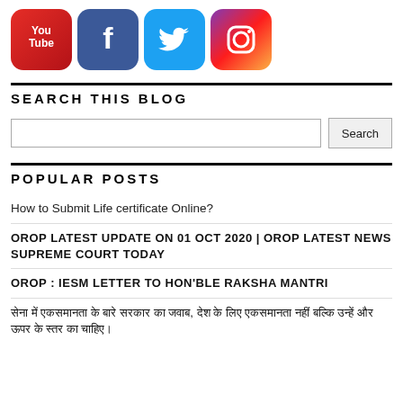[Figure (logo): Four social media icons: YouTube (red), Facebook (blue), Twitter (light blue), Instagram (gradient)]
SEARCH THIS BLOG
[Figure (other): Search input box with Search button]
POPULAR POSTS
How to Submit Life certificate Online?
OROP LATEST UPDATE ON 01 OCT 2020 | OROP LATEST NEWS SUPREME COURT TODAY
OROP : IESM LETTER TO HON'BLE RAKSHA MANTRI
[Hindi script text about OROP]